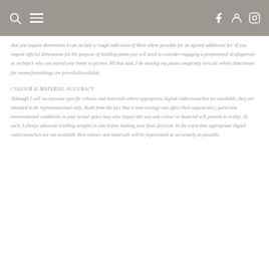navigation bar with search, menu, facebook, pinterest, instagram icons
that you require dimensions I can include a rough indication of them where possible for an agreed additional fee. If you require official dimensions for the purpose of building plans you will need to consider engaging a professional draftsperson or architect who can attend your home in person. All that said, I do develop my plans completely to-scale where dimensions for rooms/furnishings are provided/available.
COLOUR & MATERIAL ACCURACY
Although I will incorporate specific colours and materials where appropriate digital codes/swatches are available, they are intended to be representational only. Aside from the fact that screen settings can affect their appearance, particular environmental conditions in your actual space may also impact the way any colour or material will present in reality. As such, I always advocate trialling samples in situ before making your final decision. In the event that appropriate digital codes/swatches are not available then colours and materials will be represented as accurately as possible.